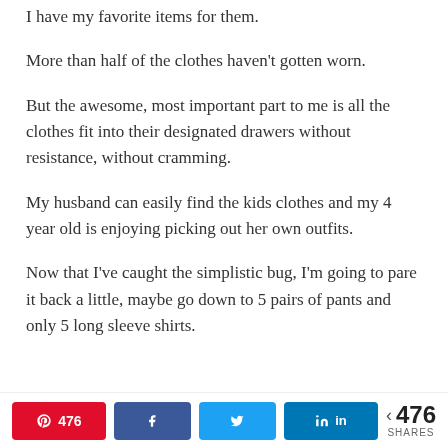I have my favorite items for them.
More than half of the clothes haven't gotten worn.
But the awesome, most important part to me is all the clothes fit into their designated drawers without resistance, without cramming.
My husband can easily find the kids clothes and my 4 year old is enjoying picking out her own outfits.
Now that I've caught the simplistic bug, I'm going to pare it back a little, maybe go down to 5 pairs of pants and only 5 long sleeve shirts.
476 shares — Pinterest 476, Facebook share, Twitter tweet, LinkedIn share